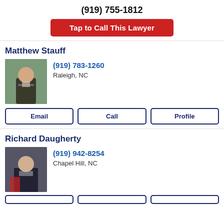(919) 755-1812
Tap to Call This Lawyer
Matthew Stauff
(919) 783-1260
Raleigh, NC
Email | Call | Profile
Richard Daugherty
(919) 942-8254
Chapel Hill, NC